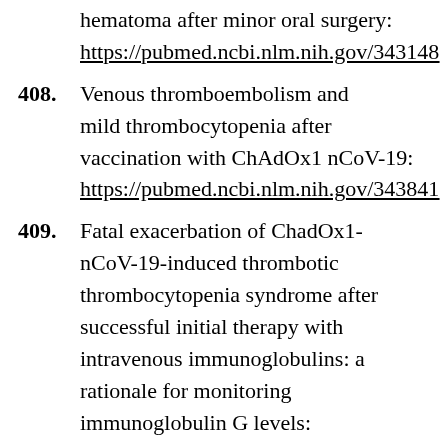hematoma after minor oral surgery: https://pubmed.ncbi.nlm.nih.gov/343148
408. Venous thromboembolism and mild thrombocytopenia after vaccination with ChAdOx1 nCoV-19: https://pubmed.ncbi.nlm.nih.gov/343841
409. Fatal exacerbation of ChadOx1-nCoV-19-induced thrombotic thrombocytopenia syndrome after successful initial therapy with intravenous immunoglobulins: a rationale for monitoring immunoglobulin G levels: